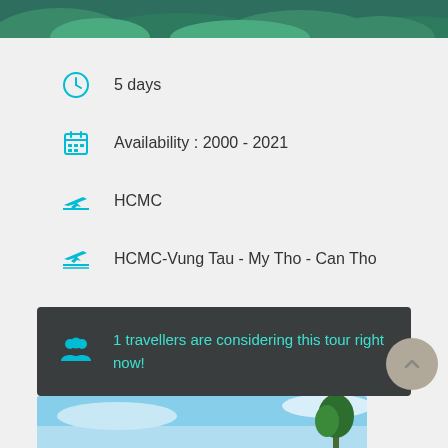[Figure (photo): Green tropical foliage banner at top of page]
5 days
Availability : 2000 - 2021
HCMC
HCMC-Vung Tau - My Tho - Can Tho
Min Age : 3+
Max People : 12
1 travellers are considering this tour right now!
[Figure (photo): Blue sky with tree at the bottom of the page]